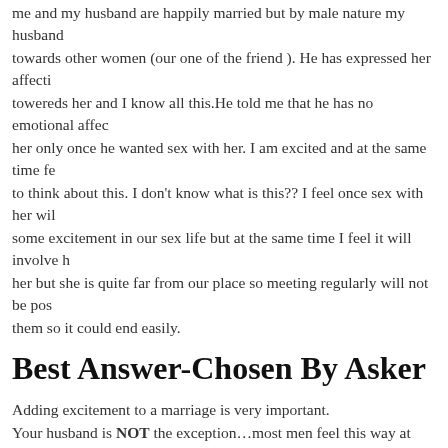me and my husband are happily married but by male nature my husband towards other women (our one of the friend ). He has expressed her affection towereds her and I know all this.He told me that he has no emotional affect her only once he wanted sex with her. I am excited and at the same time fe to think about this. I don't know what is this?? I feel once sex with her wil some excitement in our sex life but at the same time I feel it will involve h her but she is quite far from our place so meeting regularly will not be pos them so it could end easily.
Best Answer-Chosen By Asker
Adding excitement to a marriage is very important.
Your husband is NOT the exception…most men feel this way at some poi a few confess it to their wives.While it is scary, please do NOT to the typic and either give in easily OR get mad. Applaud his honesty and talk about i Get some good reading material on the subject before you introduce anoth into your bed. Is he talking about a three-some? If so, check out the book ' Jenny Block.
Is he talking about using the other woman as a surrogate to increase his att towards you? This is not so easy…in fact, it is probably misplaced energy. further resources) The core issue is not deriving excitement from another p increasing COMMUNICATION AND INTIMACY WITH YOU!
If you work towards that, you two have a chance of creating a lustful affai